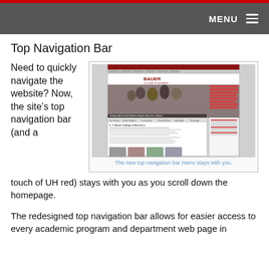MENU
Top Navigation Bar
Need to quickly navigate the website? Now, the site's top navigation bar (and a touch of UH red) stays with you as you scroll down the homepage.
[Figure (screenshot): Screenshot of the Bauer College of Business website homepage showing the top navigation bar]
The new top navigation bar menu stays with you.
The redesigned top navigation bar allows for easier access to every academic program and department web page in